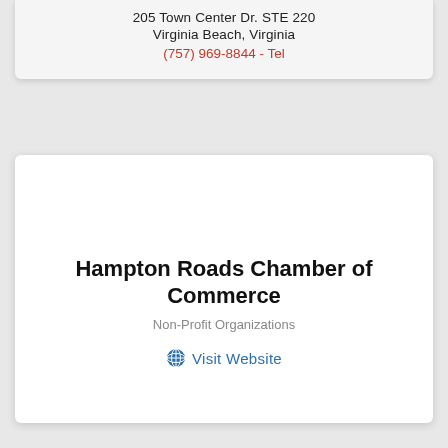205 Town Center Dr. STE 220
Virginia Beach, Virginia
(757) 969-8844 - Tel
Hampton Roads Chamber of Commerce
Non-Profit Organizations
Visit Website